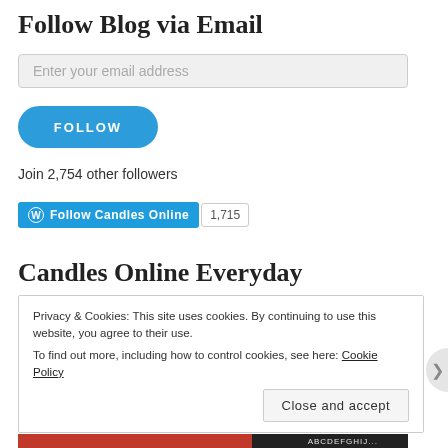Follow Blog via Email
Enter your email address
FOLLOW
Join 2,754 other followers
[Figure (other): WordPress Follow Candles Online button with count badge showing 1,715]
Candles Online Everyday
Privacy & Cookies: This site uses cookies. By continuing to use this website, you agree to their use.
To find out more, including how to control cookies, see here: Cookie Policy
Close and accept